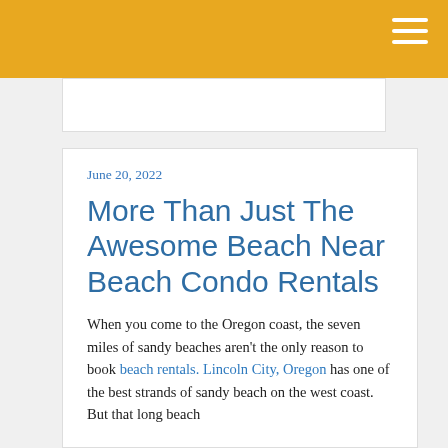June 20, 2022
More Than Just The Awesome Beach Near Beach Condo Rentals
When you come to the Oregon coast, the seven miles of sandy beaches aren't the only reason to book beach rentals. Lincoln City, Oregon has one of the best strands of sandy beach on the west coast. But that long beach